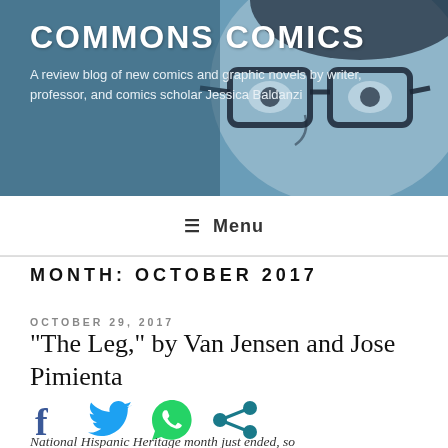COMMONS COMICS
A review blog of new comics and graphic novels by writer, professor, and comics scholar Jessica Baldanzi
≡ Menu
MONTH: OCTOBER 2017
OCTOBER 29, 2017
“The Leg,” by Van Jensen and Jose Pimienta
[Figure (infographic): Social sharing icons: Facebook (blue f), Twitter (blue bird), WhatsApp (green speech bubble), Share (teal share icon)]
National Hispanic Heritage month just ended, so